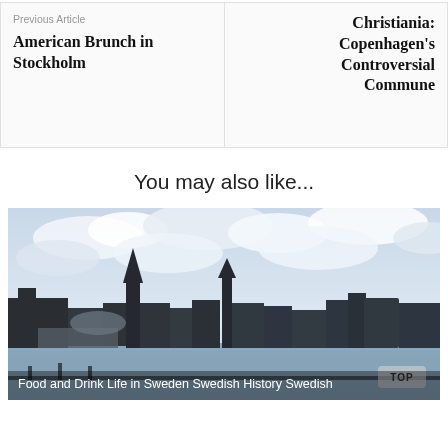Previous Article
American Brunch in Stockholm
Christiania: Copenhagen's Controversial Commune
You may also like...
[Figure (photo): Waterfront cityscape of Stockholm with church spires and cloudy sky, with caption: Food and Drink Life in Sweden Swedish History Swedish]
Food and Drink Life in Sweden Swedish History Swedish